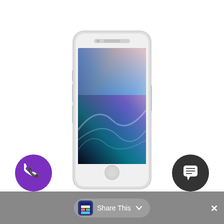[Figure (photo): iPhone 8 Plus smartphone with colorful abstract wallpaper, silver finish, shown front view]
iPhone 8 Plus »
BOOK THIS REPAIR
[Figure (screenshot): Share This widget in footer bar with phone screenshot icon and chevron]
[Figure (illustration): Purple phone/call button circle icon on left]
[Figure (illustration): Dark chat message bubble circle icon on right]